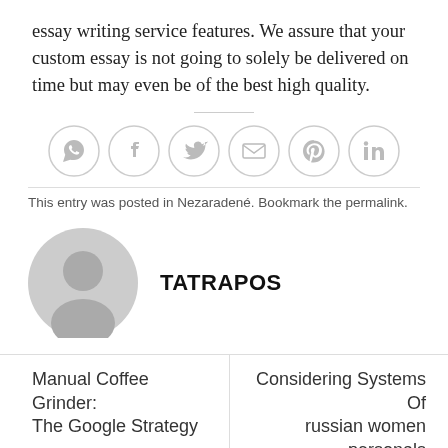essay writing service features. We assure that your custom essay is not going to solely be delivered on time but may even be of the best high quality.
[Figure (infographic): Row of six social share icon buttons in light gray circles: WhatsApp, Facebook, Twitter, Email, Pinterest, LinkedIn]
This entry was posted in Nezaradené. Bookmark the permalink.
[Figure (photo): Gray default user avatar/profile image — a circular silhouette of a person's head and shoulders]
TATRAPOS
Manual Coffee Grinder: The Google Strategy
Considering Systems Of russian women personals